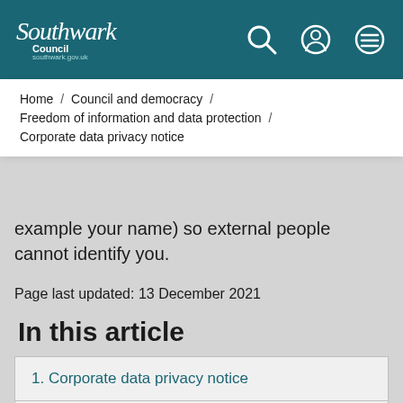[Figure (logo): Southwark Council logo and navigation header bar in teal/dark cyan colour with search, user, and menu icons]
Home / Council and democracy / Freedom of information and data protection / Corporate data privacy notice
example your name) so external people cannot identify you.
Page last updated: 13 December 2021
In this article
1. Corporate data privacy notice
2. The law and legal terminology